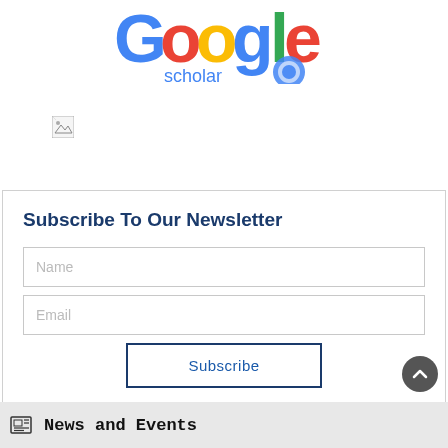[Figure (logo): Google Scholar logo with colorful Google-style letters and 'scholar' text in blue below]
[Figure (photo): Small broken/missing image placeholder icon]
Subscribe To Our Newsletter
Name (input field placeholder)
Email (input field placeholder)
Subscribe (button)
News and Events